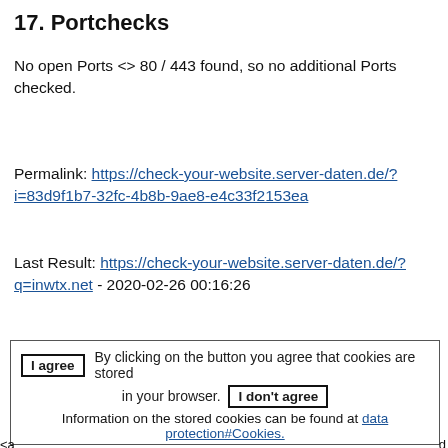17. Portchecks
No open Ports <> 80 / 443 found, so no additional Ports checked.
Permalink: https://check-your-website.server-daten.de/?i=83d9f1b7-32fc-4b8b-9ae8-e4c33f2153ea
Last Result: https://check-your-website.server-daten.de/?q=inwtx.net - 2020-02-26 00:16:26
[Figure (screenshot): Cookie consent dialog with 'I agree' button and text 'By clicking on the button you agree that cookies are stored in your browser.' with an 'I don't agree' button, and 'Information on the stored cookies can be found at data protection#Cookies.']